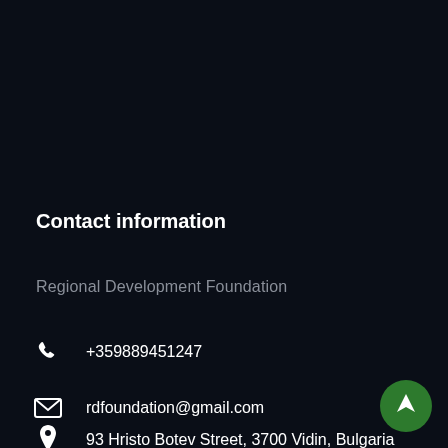Contact information
Regional Development Foundation
+359889451247
rdfoundation@gmail.com
93 Hristo Botev Street, 3700 Vidin, Bulgaria